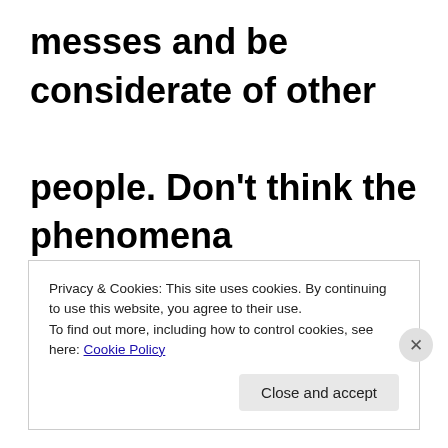messes and be considerate of other people. Don't think the phenomena exist only in gyms and health clubs. What else accounts for drivers who merrily plow through red lights and
Privacy & Cookies: This site uses cookies. By continuing to use this website, you agree to their use. To find out more, including how to control cookies, see here: Cookie Policy